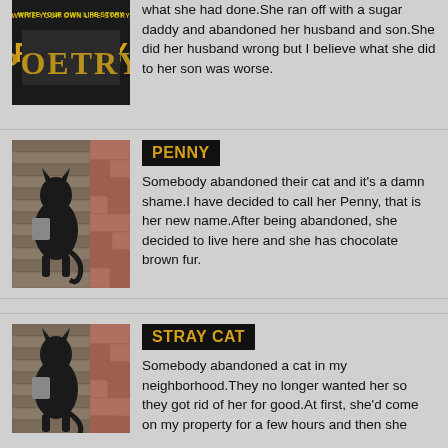[Figure (photo): Partial view of a poetry book cover with text 'WRITE YOUR OWN LIFE STORY' and 'POETRY']
what she had done.She ran off with a sugar daddy and abandoned her husband and son.She did her husband wrong but I believe what she did to her son was worse.
[Figure (photo): Black cat on wooden deck near brick wall]
PENNY
Somebody abandoned their cat and it's a damn shame.I have decided to call her Penny, that is her new name.After being abandoned, she decided to live here and she has chocolate brown fur.
[Figure (photo): Black cat on wooden deck near brick wall (same as above)]
STRAY CAT
Somebody abandoned a cat in my neighborhood.They no longer wanted her so they got rid of her for good.At first, she'd come on my property for a few hours and then she